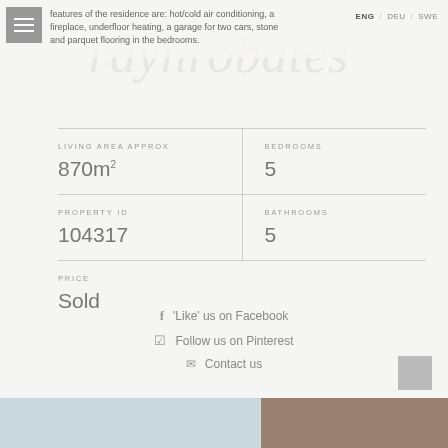features of the residence are: hot/cold air conditioning, a fireplace, underfloor heating, a garage for two cars, stone and parquet flooring in the bedrooms.
| LIVING AREA APPROX | BEDROOMS |
| --- | --- |
| 870m² | 5 |
|  |  |
| PROPERTY ID | BATHROOMS |
| 104317 | 5 |
| PRICE |  |
| Sold |  |
'Like' us on Facebook
Follow us on Pinterest
Contact us